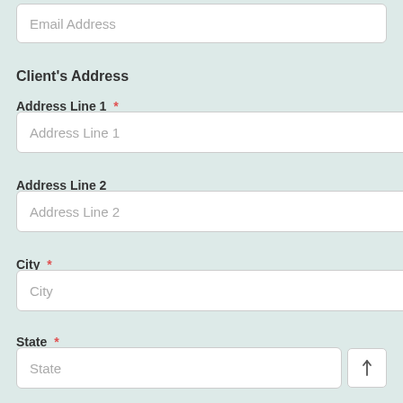Email Address
Client's Address
Address Line 1 *
Address Line 1
Address Line 2
Address Line 2
City *
City
State *
State